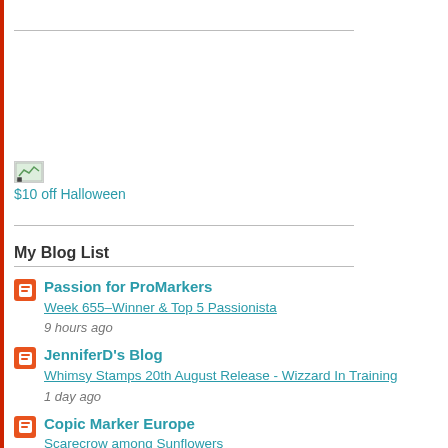[Figure (other): Web Counters image placeholder with broken image icon]
$10 off Halloween
My Blog List
Passion for ProMarkers - Week 655–Winner & Top 5 Passionista - 9 hours ago
JenniferD's Blog - Whimsy Stamps 20th August Release - Wizzard In Training - 1 day ago
Copic Marker Europe - Scarecrow among Sunflowers